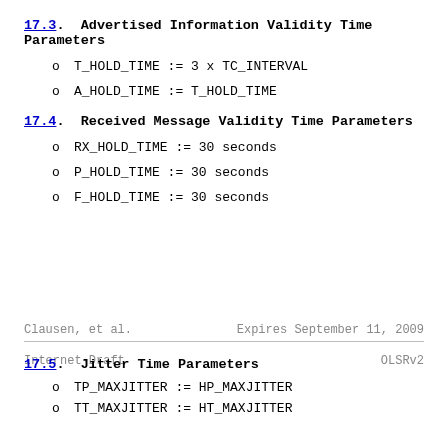17.3. Advertised Information Validity Time Parameters
o  T_HOLD_TIME := 3 x TC_INTERVAL
o  A_HOLD_TIME := T_HOLD_TIME
17.4. Received Message Validity Time Parameters
o  RX_HOLD_TIME := 30 seconds
o  P_HOLD_TIME := 30 seconds
o  F_HOLD_TIME := 30 seconds
Clausen, et al.        Expires September 11, 2009
Internet-Draft                             OLSRv2
17.5. Jitter Time Parameters
o  TP_MAXJITTER := HP_MAXJITTER
o  TT_MAXJITTER := HT_MAXJITTER